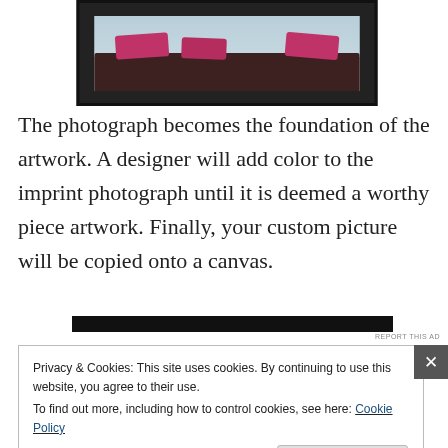[Figure (photo): A room interior photo showing a dark sofa with pink/magenta cushions against a light blue wall, displayed in a dark frame]
The photograph becomes the foundation of the artwork. A designer will add color to the imprint photograph until it is deemed a worthy piece artwork. Finally, your custom picture will be copied onto a canvas.
[Figure (screenshot): Advertisement bar - dark horizontal banner]
Privacy & Cookies: This site uses cookies. By continuing to use this website, you agree to their use.
To find out more, including how to control cookies, see here: Cookie Policy

Close and accept